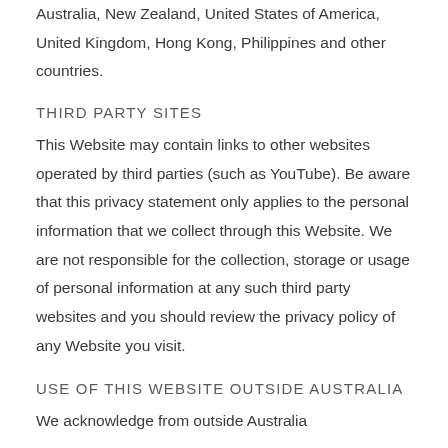Australia, New Zealand, United States of America, United Kingdom, Hong Kong, Philippines and other countries.
THIRD PARTY SITES
This Website may contain links to other websites operated by third parties (such as YouTube). Be aware that this privacy statement only applies to the personal information that we collect through this Website. We are not responsible for the collection, storage or usage of personal information at any such third party websites and you should review the privacy policy of any Website you visit.
USE OF THIS WEBSITE OUTSIDE AUSTRALIA
We acknowledge from outside Australia